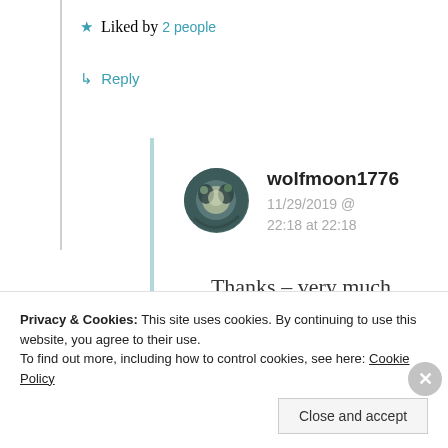★ Liked by 2 people
↳ Reply
wolfmoon1776 — 11/29/2019 @ 22:18 at 22:18
Thanks – very much
Privacy & Cookies: This site uses cookies. By continuing to use this website, you agree to their use.
To find out more, including how to control cookies, see here: Cookie Policy
Close and accept